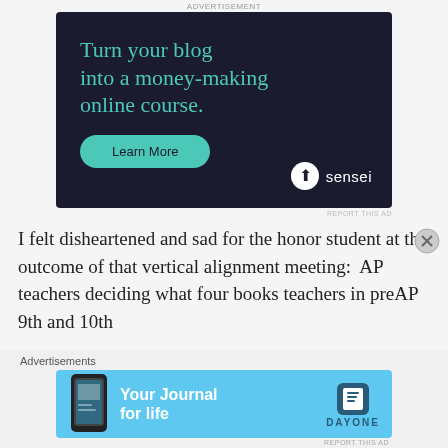[Figure (illustration): Sensei advertisement with dark background. Text reads 'Turn your blog into a money-making online course.' with a teal 'Learn More' button and Sensei logo.]
I felt disheartened and sad for the honor student at the outcome of that vertical alignment meeting:  AP teachers deciding what four books teachers in preAP 9th and 10th
[Figure (illustration): DayOne 'Your Journal for life' advertisement with light blue background and phone image.]